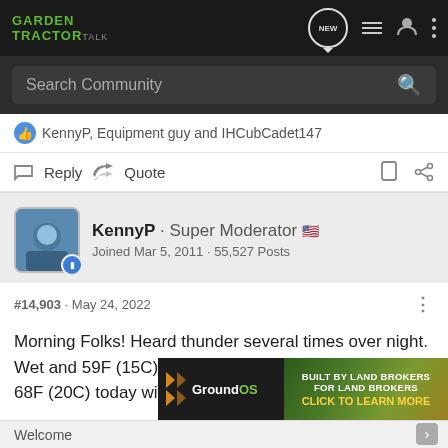Garden Tractor Talk
Search Community
KennyP, Equipment guy and IHCubCadet147
Reply  Quote
KennyP · Super Moderator
Joined Mar 5, 2011 · 55,527 Posts
#14,903 · May 24, 2022
Morning Folks! Heard thunder several times over night. Wet and 59F (15C) out there. SE winds, heavy rain and 68F (20C) today with 2-3 inches expected.
[Figure (screenshot): GroundOS advertisement banner: Built by land brokers for land brokers, Click to learn more]
Welcome